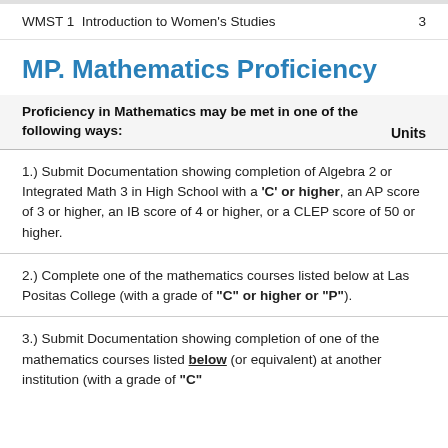WMST 1  Introduction to Women's Studies    3
MP. Mathematics Proficiency
| Proficiency in Mathematics may be met in one of the following ways: | Units |
| --- | --- |
| 1.) Submit Documentation showing completion of Algebra 2 or Integrated Math 3 in High School with a 'C' or higher, an AP score of 3 or higher, an IB score of 4 or higher, or a CLEP score of 50 or higher. |  |
| 2.) Complete one of the mathematics courses listed below at Las Positas College (with a grade of "C" or higher or "P"). |  |
| 3.) Submit Documentation showing completion of one of the mathematics courses listed below (or equivalent) at another institution (with a grade of "C" |  |